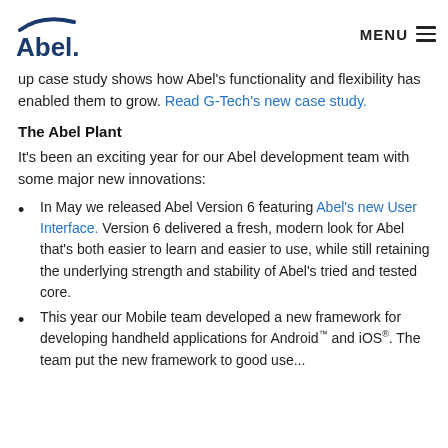Abel. | MENU
...North America, South America, ...long standing Abel customer and the follow up case study shows how Abel's functionality and flexibility has enabled them to grow. Read G-Tech's new case study.
The Abel Plant
It's been an exciting year for our Abel development team with some major new innovations:
In May we released Abel Version 6 featuring Abel's new User Interface. Version 6 delivered a fresh, modern look for Abel that's both easier to learn and easier to use, while still retaining the underlying strength and stability of Abel's tried and tested core.
This year our Mobile team developed a new framework for developing handheld applications for Android™ and iOS®. The team put the new framework to good use...